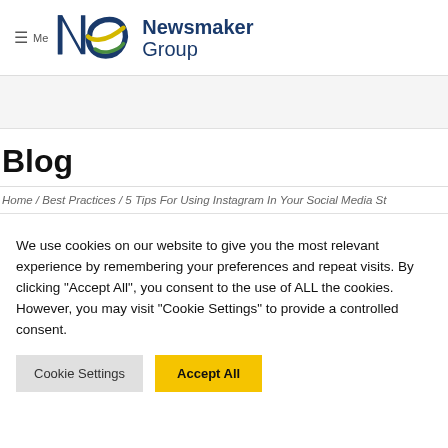[Figure (logo): Newsmaker Group logo with NG monogram in blue and yellow/green, and 'Newsmaker Group' text in dark blue]
Blog
Home / Best Practices / 5 Tips For Using Instagram In Your Social Media St
We use cookies on our website to give you the most relevant experience by remembering your preferences and repeat visits. By clicking "Accept All", you consent to the use of ALL the cookies. However, you may visit "Cookie Settings" to provide a controlled consent.